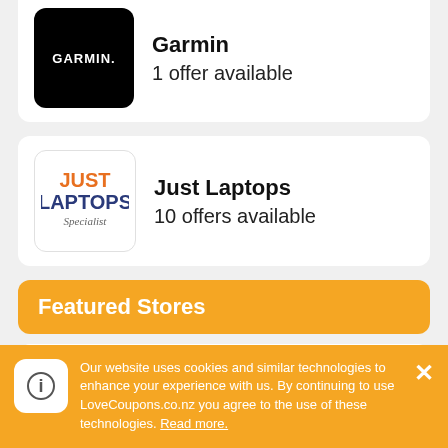[Figure (logo): Garmin logo - white GARMIN. text on black background]
Garmin
1 offer available
[Figure (logo): Just Laptops Specialist logo - orange JUST and blue LAPTOPS text with italic Specialist]
Just Laptops
10 offers available
Featured Stores
[Figure (logo): Adult Toy Megastore logo - white rounded square]
Adult Toy Megastore
22 offers available
Our website uses cookies and similar technologies to enhance your experience with us. By continuing to use LoveCoupons.co.nz you agree to the use of these technologies. Read more.